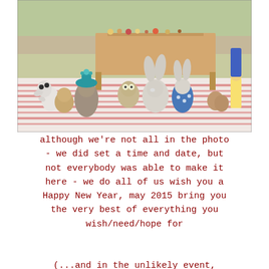[Figure (photo): A group of stuffed animal toys and figurines arranged on a table with a striped tablecloth, including a rabbit, bears, cats, dogs, and other animals, with a small wooden table in the background holding miniature food items.]
although we're not all in the photo - we did set a time and date, but not everybody was able to make it here - we do all of us wish you a Happy New Year, may 2015 bring you the very best of everything you wish/need/hope for

(...and in the unlikely event,